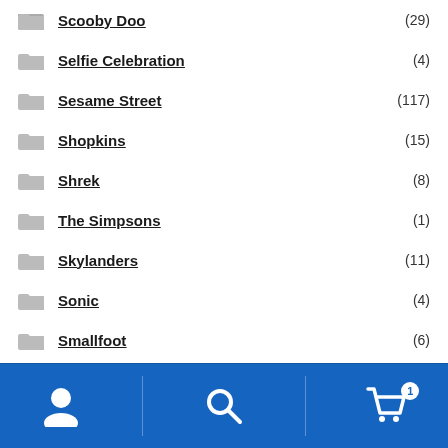Scooby Doo (29)
Selfie Celebration (4)
Sesame Street (117)
Shopkins (15)
Shrek (8)
The Simpsons (1)
Skylanders (11)
Sonic (4)
Smallfoot (6)
Smurfs (6)
Speed Racer (6)
[Figure (other): Bottom navigation bar with user icon, search icon, and shopping cart icon with badge showing 1]